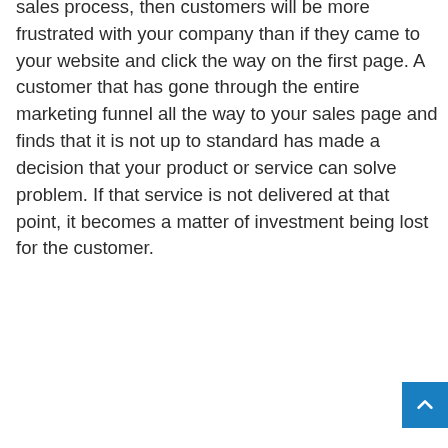sales process, then customers will be more frustrated with your company than if they came to your website and click the way on the first page. A customer that has gone through the entire marketing funnel all the way to your sales page and finds that it is not up to standard has made a decision that your product or service can solve problem. If that service is not delivered at that point, it becomes a matter of investment being lost for the customer.